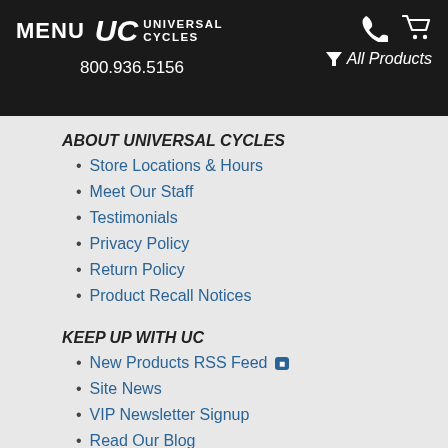MENU  UC UNIVERSAL CYCLES  800.936.5156  All Products
ABOUT UNIVERSAL CYCLES
Store Locations & Hours
Meet Our Staff
Testimonials
Privacy Policy
Return Policy
Product Recall Notices
KEEP UP WITH UC
New Products RSS Feed
Site News
VIP Newsletter Signup
Read Our Blog
CUSTOMER SERVICE
Contact Us
Help & FAQs
Your Account